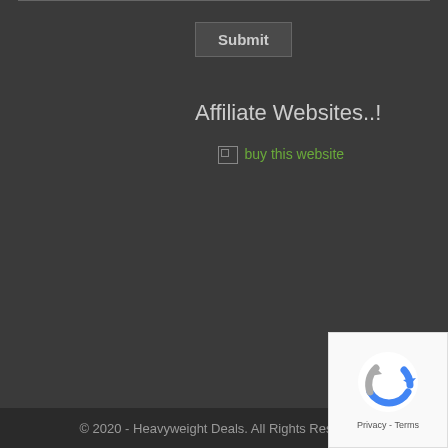Submit
Affiliate Websites..!
buy this website
[Figure (logo): reCAPTCHA badge with circular arrow icon, Privacy and Terms links]
© 2020 - Heavyweight Deals. All Rights Reserved.